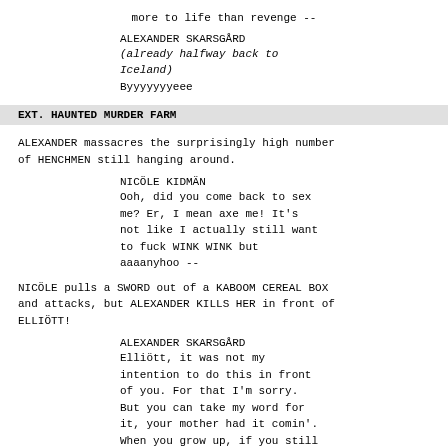more to life than revenge --
ALEXANDER SKARSGÅRD
(already halfway back to Iceland)
Byyyyyyyeee
EXT. HAUNTED MURDER FARM
ALEXANDER massacres the surprisingly high number of HENCHMEN still hanging around.
NICÖLE KIDMÄN
Ooh, did you come back to sex me? Er, I mean axe me! It's not like I actually still want to fuck WINK WINK but aaaanyhoo --
NICÖLE pulls a SWORD out of a KABOOM CEREAL BOX and attacks, but ALEXANDER KILLS HER in front of ELLIÖTT!
ALEXANDER SKARSGÅRD
Elliött, it was not my intention to do this in front of you. For that I'm sorry. But you can take my word for it, your mother had it comin'. When you grow up, if you still feel raw about it, I'll be